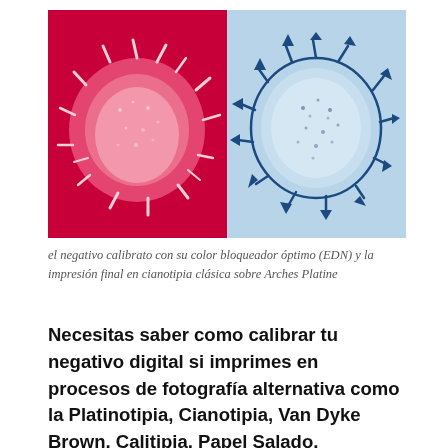[Figure (photo): Two side-by-side microscope images of a spiky spherical organism (pollen or similar). Left half shows the organism on a deep red/magenta background rendered in red/pink tones. Right half shows the same organism on a light blue background rendered in dark blue tones.]
el negativo calibrato con su color bloqueador óptimo (EDN) y la impresión final en cianotipia clásica sobre Arches Platine
Necesitas saber como calibrar tu negativo digital si imprimes en procesos de fotografía alternativa como la Platinotipia, Cianotipia, Van Dyke Brown, Calitipia, Papel Salado, Crisotipia, Gum